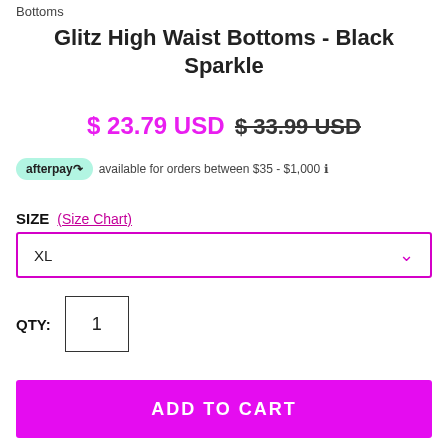Bottoms
Glitz High Waist Bottoms - Black Sparkle
$ 23.79 USD  $ 33.99 USD
afterpay available for orders between $35 - $1,000 ℹ
SIZE  (Size Chart)
XL
QTY:  1
ADD TO CART